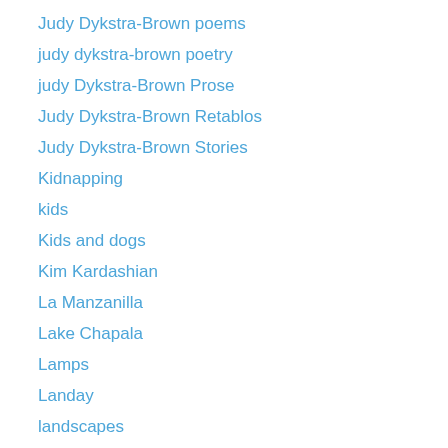Judy Dykstra-Brown poems
judy dykstra-brown poetry
judy Dykstra-Brown Prose
Judy Dykstra-Brown Retablos
Judy Dykstra-Brown Stories
Kidnapping
kids
Kids and dogs
Kim Kardashian
La Manzanilla
Lake Chapala
Lamps
Landay
landscapes
Languages
Laughte
Laughter
Leaf cutter ants
Leave-taking
Leaves